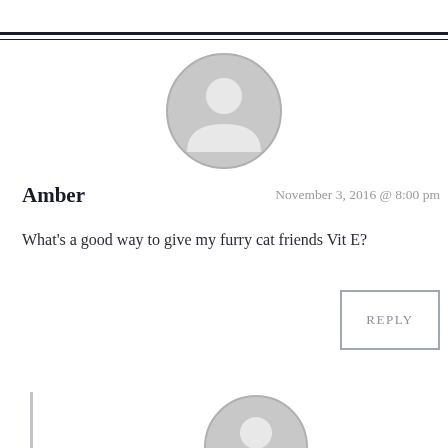[Figure (illustration): Default grey avatar/profile picture placeholder — circle with silhouette of a person]
Amber
November 3, 2016 @ 8:00 pm
What's a good way to give my furry cat friends Vit E?
REPLY
[Figure (illustration): Second default grey avatar/profile picture placeholder — partial view at bottom of page]